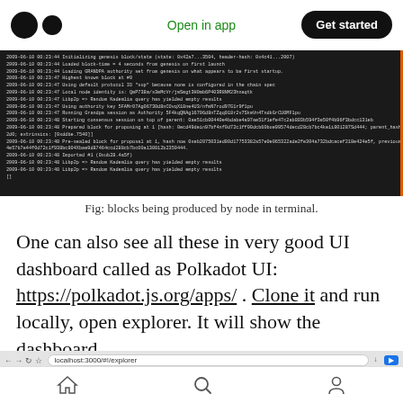Open in app  Get started
[Figure (screenshot): Terminal output showing blockchain node logs with timestamps, block production messages, GRANDPA authority messages, and consensus session information on dark background.]
Fig: blocks being produced by node in terminal.
One can also see all these in very good UI dashboard called as Polkadot UI: https://polkadot.js.org/apps/ . Clone it and run locally, open explorer. It will show the dashboard
[Figure (screenshot): Browser screenshot showing localhost URL bar and Polkadot UI with tabs for Chain Info, Block details, Transactions and a play button.]